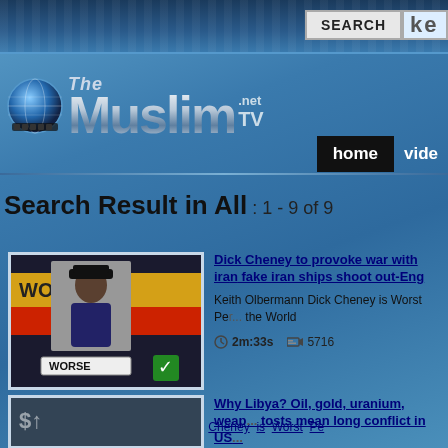The Muslim.net TV — SEARCH
Search Result in All : 1 - 9 of 9
[Figure (screenshot): Thumbnail showing 'World's Worst' graphic with a man in uniform labeled 'WORSE']
Dick Cheney to provoke war with iran fake iran ships shoot out-Eng
Keith Olbermann Dick Cheney is Worst Pe... the World
2m:33s  5716
Video Tags: Keith Olbermann Dick Cheney is Worst Pe... order
[Figure (screenshot): Thumbnail of second video result]
Why Libya? Oil, gold, uranium, weap... tosts mean long conflict in US...